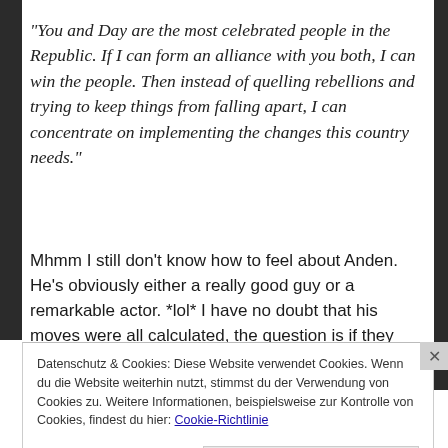“You and Day are the most celebrated people in the Republic. If I can form an alliance with you both, I can win the people. Then instead of quelling rebellions and trying to keep things from falling apart, I can concentrate on implementing the changes this country needs.”
Mhmm I still don’t know how to feel about Anden. He’s obviously either a really good guy or a remarkable actor. *lol* I have no doubt that his moves were all calculated, the question is if they were truly based on his beliefs or if he only did what he had to because he knew he couldn’t
Datenschutz & Cookies: Diese Website verwendet Cookies. Wenn du die Website weiterhin nutzt, stimmst du der Verwendung von Cookies zu. Weitere Informationen, beispielsweise zur Kontrolle von Cookies, findest du hier: Cookie-Richtlinie
Schließen und Akzeptieren
The best stories on the web — ours, and everyone else’s.